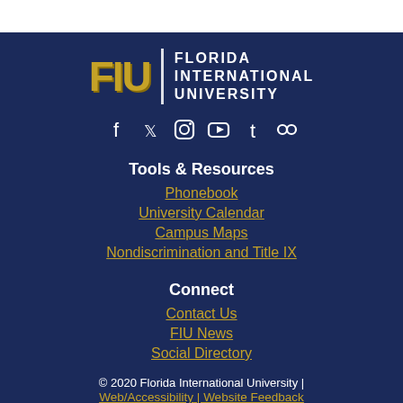[Figure (logo): FIU – Florida International University logo with gold FIU letters and white text on navy background]
[Figure (other): Social media icons row: Facebook, Twitter, Instagram, YouTube, Tumblr, Flickr]
Tools & Resources
Phonebook
University Calendar
Campus Maps
Nondiscrimination and Title IX
Connect
Contact Us
FIU News
Social Directory
© 2020 Florida International University | Web/Accessibility | Website Feedback